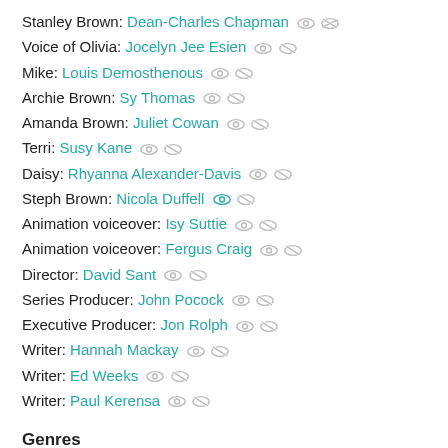Stanley Brown: Dean-Charles Chapman
Voice of Olivia: Jocelyn Jee Esien
Mike: Louis Demosthenous
Archie Brown: Sy Thomas
Amanda Brown: Juliet Cowan
Terri: Susy Kane
Daisy: Rhyanna Alexander-Davis
Steph Brown: Nicola Duffell
Animation voiceover: Isy Suttie
Animation voiceover: Fergus Craig
Director: David Sant
Series Producer: John Pocock
Executive Producer: Jon Rolph
Writer: Hannah Mackay
Writer: Ed Weeks
Writer: Paul Kerensa
Genres
Children's /